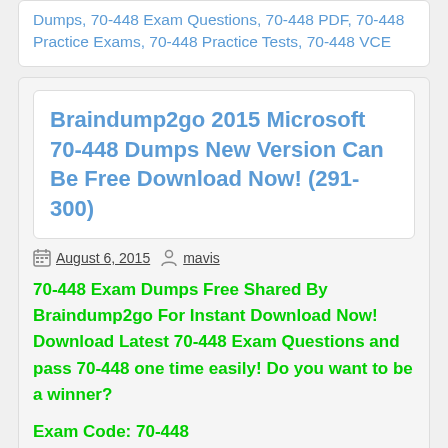Dumps, 70-448 Exam Questions, 70-448 PDF, 70-448 Practice Exams, 70-448 Practice Tests, 70-448 VCE
Braindump2go 2015 Microsoft 70-448 Dumps New Version Can Be Free Download Now! (291-300)
August 6, 2015   mavis
70-448 Exam Dumps Free Shared By Braindump2go For Instant Download Now! Download Latest 70-448 Exam Questions and pass 70-448 one time easily! Do you want to be a winner?
Exam Code: 70-448
Exam Name: Microsoft SQL Server 2008, Business Intelligence Development and Maintenance
Certification Provider: Microsoft
Corresponding Certifications: MCITP, Busi...